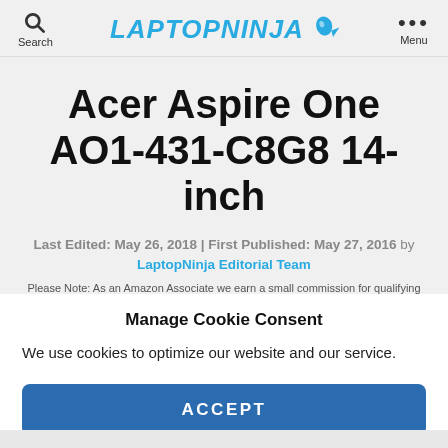Search | LAPTOPNINJA | Menu
Acer Aspire One AO1-431-C8G8 14-inch
Last Edited: May 26, 2018 | First Published: May 27, 2016 by LaptopNinja Editorial Team
Please Note: As an Amazon Associate we earn a small commission for qualifying
Manage Cookie Consent
We use cookies to optimize our website and our service.
ACCEPT